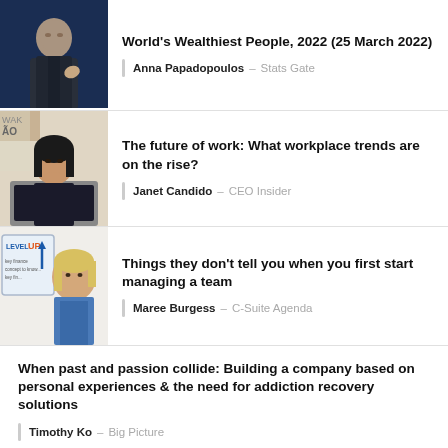[Figure (photo): Man in dark suit speaking at a conference, blue stage lighting]
World's Wealthiest People, 2022 (25 March 2022)
Anna Papadopoulos - Stats Gate
[Figure (photo): Woman with dark hair resting chin on hand in front of a laptop, office background]
The future of work: What workplace trends are on the rise?
Janet Candido - CEO Insider
[Figure (photo): Blonde woman in blue patterned top standing in front of a whiteboard with Level Up written on it]
Things they don't tell you when you first start managing a team
Maree Burgess - C-Suite Agenda
When past and passion collide: Building a company based on personal experiences & the need for addiction recovery solutions
Timothy Ko - Big Picture